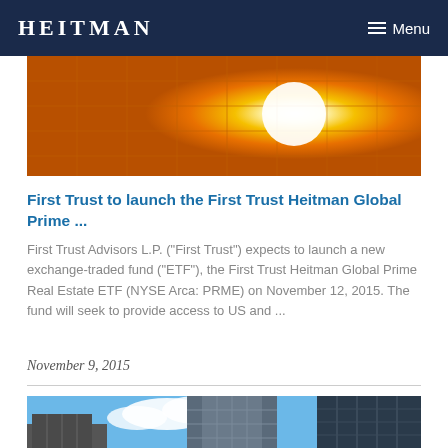HEITMAN  Menu
[Figure (photo): Abstract golden/orange architectural facade with grid pattern of glass windows reflecting sunlight, with a circular light element]
First Trust to launch the First Trust Heitman Global Prime ...
First Trust Advisors L.P. ("First Trust") expects to launch a new exchange-traded fund ("ETF"), the First Trust Heitman Global Prime Real Estate ETF (NYSE Arca: PRME) on November 12, 2015. The fund will seek to provide access to US and ...
November 9, 2015
[Figure (photo): Urban cityscape with tall modern skyscrapers against a blue sky with clouds]